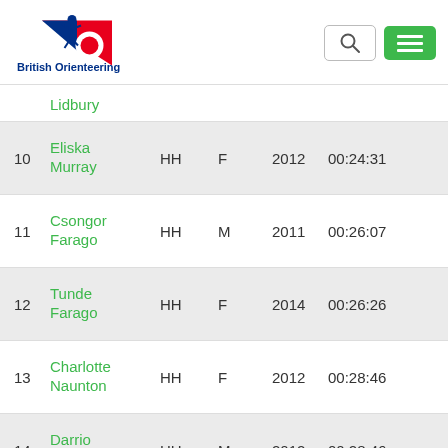[Figure (logo): British Orienteering logo with runner figure and red/blue triangle design and text 'British Orienteering']
| Pos | Name | Club | Gender | Year | Time |
| --- | --- | --- | --- | --- | --- |
|  | Lidbury |  |  |  |  |
| 10 | Eliska Murray | HH | F | 2012 | 00:24:31 |
| 11 | Csongor Farago | HH | M | 2011 | 00:26:07 |
| 12 | Tunde Farago | HH | F | 2014 | 00:26:26 |
| 13 | Charlotte Naunton | HH | F | 2012 | 00:28:46 |
| 14 | Darrio Tam | HH | M | 2012 | 00:28:46 |
| 15 | Richard | SMOC | M | 2007 | 00:30:33 |